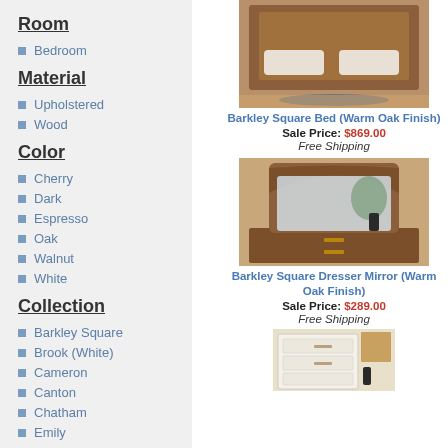Room
Bedroom
Material
Upholstered
Wood
Color
Cherry
Dark
Espresso
Oak
Walnut
White
Collection
Barkley Square
Brook (White)
Cameron
Canton
Chatham
Emily
[Figure (photo): Barkley Square Bed with warm oak finish, shown with blue rug]
Barkley Square Bed (Warm Oak Finish)
Sale Price: $869.00
Free Shipping
[Figure (photo): Barkley Square Dresser Mirror with warm oak finish, ornate carved top]
Barkley Square Dresser Mirror (Warm Oak Finish)
Sale Price: $289.00
Free Shipping
[Figure (photo): Partial view of a white bedroom furniture piece]